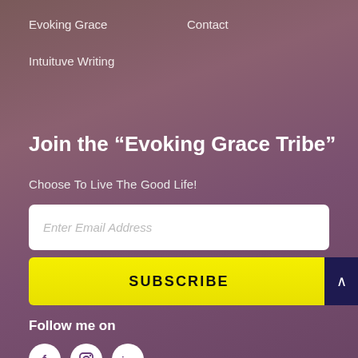Evoking Grace    Contact
Intuituve Writing
Join the “Evoking Grace Tribe”
Choose To Live The Good Life!
Enter Email Address
SUBSCRIBE
Follow me on
[Figure (illustration): Three social media icons in white circles: Facebook (f), Instagram (camera), LinkedIn (in)]